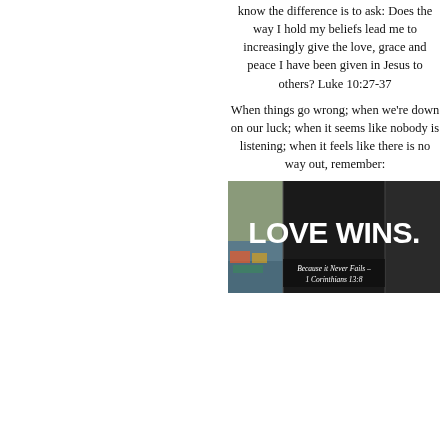know the difference is to ask: Does the way I hold my beliefs lead me to increasingly give the love, grace and peace I have been given in Jesus to others? Luke 10:27-37
When things go wrong; when we're down on our luck; when it seems like nobody is listening; when it feels like there is no way out, remember:
[Figure (photo): Graffiti/street art image showing bold white text 'LOVE WINS.' on a dark background, with smaller text below reading 'Because it Never Fails - 1 Corinthians 13:8']